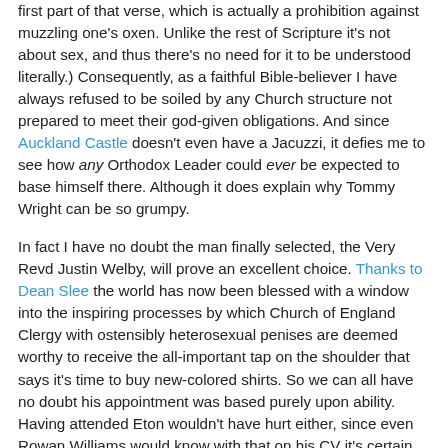first part of that verse, which is actually a prohibition against muzzling one's oxen. Unlike the rest of Scripture it's not about sex, and thus there's no need for it to be understood literally.) Consequently, as a faithful Bible-believer I have always refused to be soiled by any Church structure not prepared to meet their god-given obligations. And since Auckland Castle doesn't even have a Jacuzzi, it defies me to see how any Orthodox Leader could ever be expected to base himself there. Although it does explain why Tommy Wright can be so grumpy.
In fact I have no doubt the man finally selected, the Very Revd Justin Welby, will prove an excellent choice. Thanks to Dean Slee the world has now been blessed with a window into the inspiring processes by which Church of England Clergy with ostensibly heterosexual penises are deemed worthy to receive the all-important tap on the shoulder that says it's time to buy new-colored shirts. So we can all have no doubt his appointment was based purely upon ability. Having attended Eton wouldn't have hurt either, since even Rowan Williams would know with that on his CV it's certain Fr. Welby has never been tainted by homosexualists and their manner of lifestyle. After all, Guy Burgess went to Eton